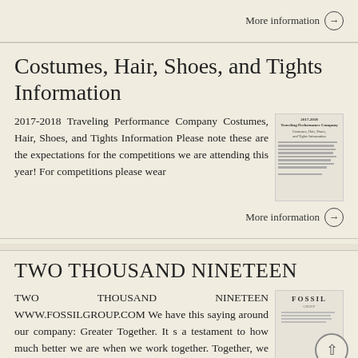More information →
Costumes, Hair, Shoes, and Tights Information
2017-2018 Traveling Performance Company Costumes, Hair, Shoes, and Tights Information Please note these are the expectations for the competitions we are attending this year! For competitions please wear
[Figure (thumbnail): Thumbnail preview of the Costumes, Hair, Shoes, and Tights Information document]
More information →
TWO THOUSAND NINETEEN
TWO THOUSAND NINETEEN WWW.FOSSILGROUP.COM We have this saying around our company: Greater Together. It s a testament to how much better we are when we work together. Together, we make great things happen.
[Figure (logo): FOSSIL logo thumbnail]